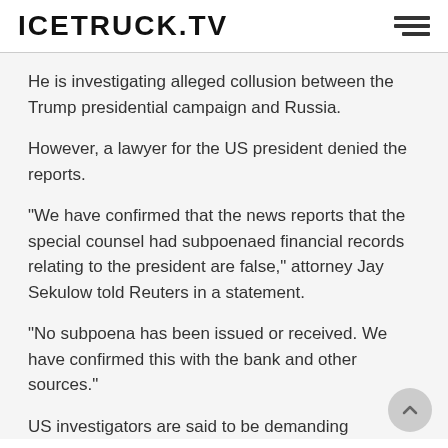ICETRUCK.TV
He is investigating alleged collusion between the Trump presidential campaign and Russia.
However, a lawyer for the US president denied the reports.
"We have confirmed that the news reports that the special counsel had subpoenaed financial records relating to the president are false," attorney Jay Sekulow told Reuters in a statement.
"No subpoena has been issued or received. We have confirmed this with the bank and other sources."
US investigators are said to be demanding information